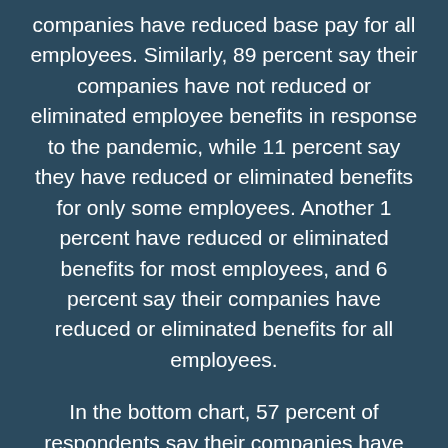companies have reduced base pay for all employees. Similarly, 89 percent say their companies have not reduced or eliminated employee benefits in response to the pandemic, while 11 percent say they have reduced or eliminated benefits for only some employees. Another 1 percent have reduced or eliminated benefits for most employees, and 6 percent say their companies have reduced or eliminated benefits for all employees.
In the bottom chart, 57 percent of respondents say their companies have not offered workers training in how to work remotely. One-of-three (33 percent) say their companies have offered such training to